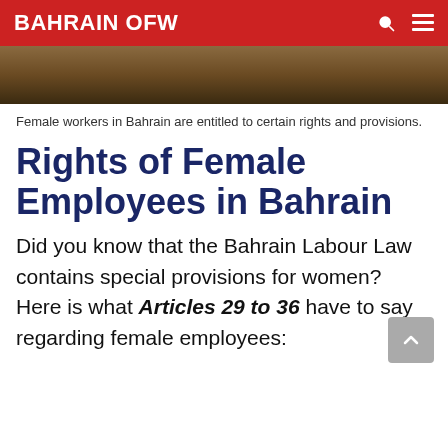BAHRAIN OFW
[Figure (photo): A blurred photo of a person or workplace scene, shown as a cropped strip at the top of the page]
Female workers in Bahrain are entitled to certain rights and provisions.
Rights of Female Employees in Bahrain
Did you know that the Bahrain Labour Law contains special provisions for women? Here is what Articles 29 to 36 have to say regarding female employees: